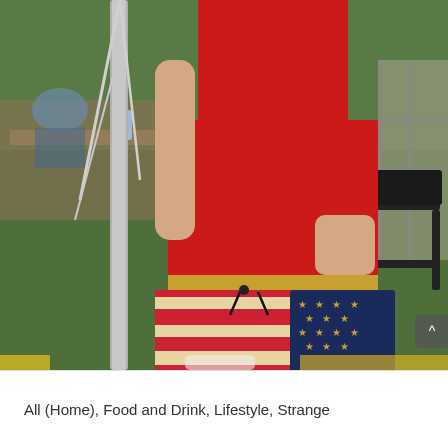[Figure (photo): Outdoor photo of a person wearing a red tank top and American flag-patterned swim briefs (stars and stripes design), standing near a metal pole with ropes. Background shows green grass, folding chairs, a table with people seated, and fencing. The image is cropped to show the torso and upper legs.]
All (Home), Food and Drink, Lifestyle, Strange